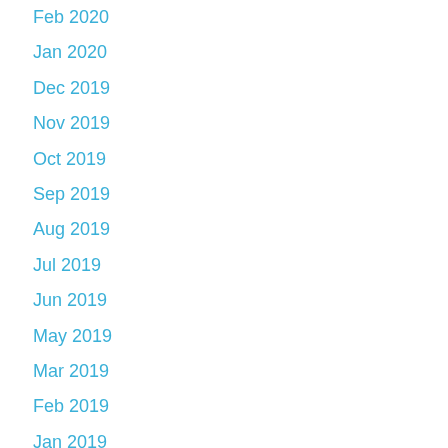Feb 2020
Jan 2020
Dec 2019
Nov 2019
Oct 2019
Sep 2019
Aug 2019
Jul 2019
Jun 2019
May 2019
Mar 2019
Feb 2019
Jan 2019
Nov 2018